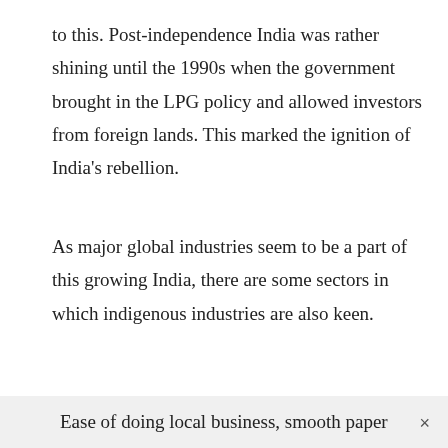to this. Post-independence India was rather shining until the 1990s when the government brought in the LPG policy and allowed investors from foreign lands. This marked the ignition of India's rebellion.
As major global industries seem to be a part of this growing India, there are some sectors in which indigenous industries are also keen.
Ease of doing local business, smooth paper